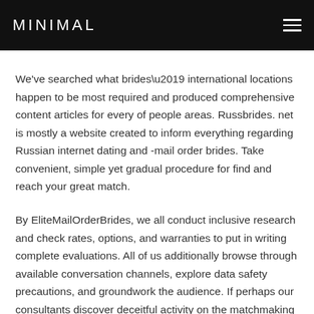MINIMAL
We've searched what brides’ international locations happen to be most required and produced comprehensive content articles for every of people areas. Russbrides. net is mostly a website created to inform everything regarding Russian internet dating and -mail order brides. Take convenient, simple yet gradual procedure for find and reach your great match.
By EliteMailOrderBrides, we all conduct inclusive research and check rates, options, and warranties to put in writing complete evaluations. All of us additionally browse through available conversation channels, explore data safety precautions, and groundwork the audience. If perhaps our consultants discover deceitful activity on the matchmaking web-site, we notify our visitors to guard all of them from scams. Although wish an